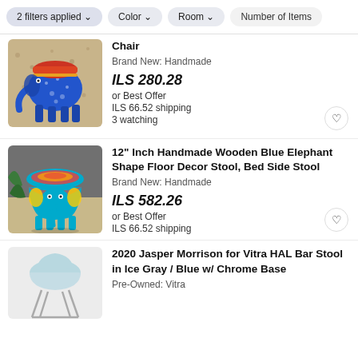2 filters applied | Color | Room | Number of Items
[Figure (photo): Blue painted elephant-shaped wooden chair outdoors on gravel]
Chair
Brand New: Handmade
ILS 280.28
or Best Offer
ILS 66.52 shipping
3 watching
[Figure (photo): 12 inch handmade wooden blue elephant shape floor decor stool on a surface]
12" Inch Handmade Wooden Blue Elephant Shape Floor Decor Stool, Bed Side Stool
Brand New: Handmade
ILS 582.26
or Best Offer
ILS 66.52 shipping
[Figure (photo): Light blue/ice gray HAL bar stool with chrome base on white background]
2020 Jasper Morrison for Vitra HAL Bar Stool in Ice Gray / Blue w/ Chrome Base
Pre-Owned: Vitra